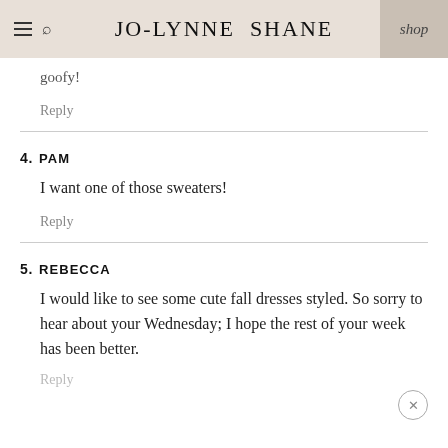JO-LYNNE SHANE | shop
goofy!
Reply
4. PAM
I want one of those sweaters!
Reply
5. REBECCA
I would like to see some cute fall dresses styled. So sorry to hear about your Wednesday; I hope the rest of your week has been better.
Reply